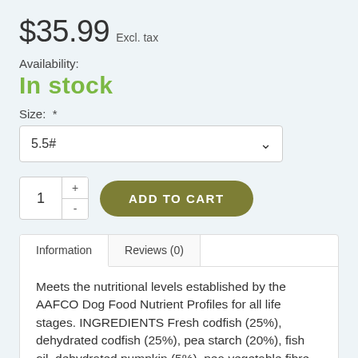$35.99 Excl. tax
Availability:
In stock
Size:  *
5.5#
1
ADD TO CART
Information
Reviews (0)
Meets the nutritional levels established by the AAFCO Dog Food Nutrient Profiles for all life stages. INGREDIENTS Fresh codfish (25%), dehydrated codfish (25%), pea starch (20%), fish oil, dehydrated pumpkin (5%), pea vegetable fibre, dried carrots, dried